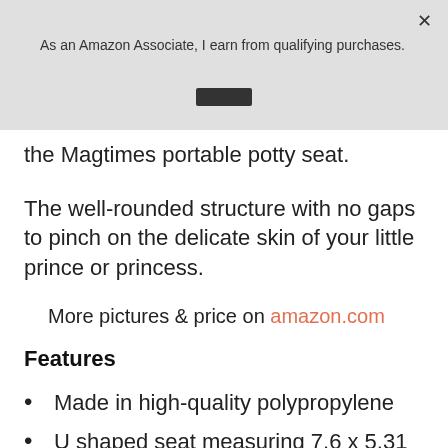As an Amazon Associate, I earn from qualifying purchases.
the Magtimes portable potty seat.
The well-rounded structure with no gaps to pinch on the delicate skin of your little prince or princess.
More pictures & price on amazon.com
Features
Made in high-quality polypropylene
U shaped seat measuring 7.6 x 5.31 x